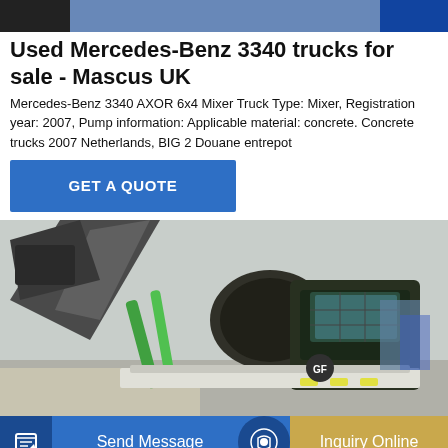[Figure (photo): Top portion of a truck or heavy vehicle, partially visible at the top of the page, blue background visible.]
Used Mercedes-Benz 3340 trucks for sale - Mascus UK
Mercedes-Benz 3340 AXOR 6x4 Mixer Truck Type: Mixer, Registration year: 2007, Pump information: Applicable material: concrete. Concrete trucks 2007 Netherlands, BIG 2 Douane entrepot
[Figure (photo): A green and white self-loading concrete mixer truck/construction vehicle photographed outdoors, with a large loading bucket raised, on a construction site with aggregate material visible.]
GET A QUOTE
Send Message
Inquiry Online